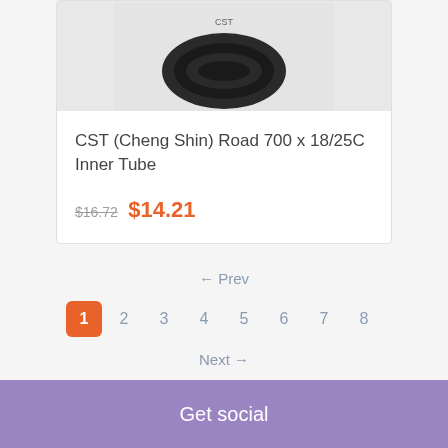[Figure (photo): Product photo of a bicycle inner tube (black, coiled) on a light gray background]
CST (Cheng Shin) Road 700 x 18/25C Inner Tube
$16.72  $14.21
← Prev
1  2  3  4  5  6  7  8
Next →
Get social